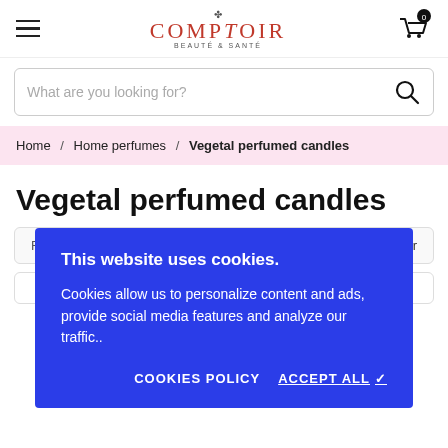COMPTOTR — navigation header with hamburger menu and cart (0 items)
What are you looking for?
Home / Home perfumes / Vegetal perfumed candles
Vegetal perfumed candles
Relevance ▾   ••• Show filter
This website uses cookies.
Cookies allow us to personalize content and ads, provide social media features and analyze our traffic..
COOKIES POLICY   ACCEPT ALL ✓